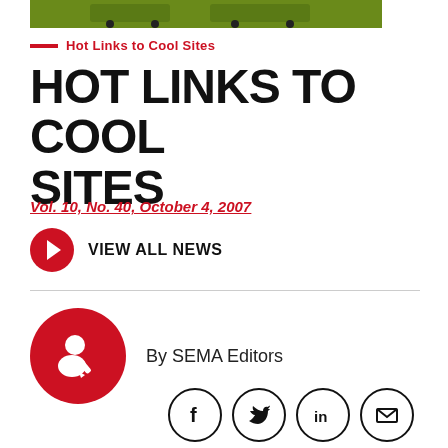[Figure (photo): Top banner image showing an off-road vehicle on green background]
Hot Links to Cool Sites
HOT LINKS TO COOL SITES
Vol. 10, No. 40, October 4, 2007
VIEW ALL NEWS
By SEMA Editors
[Figure (infographic): Social media share icons: Facebook, Twitter, LinkedIn, Email]